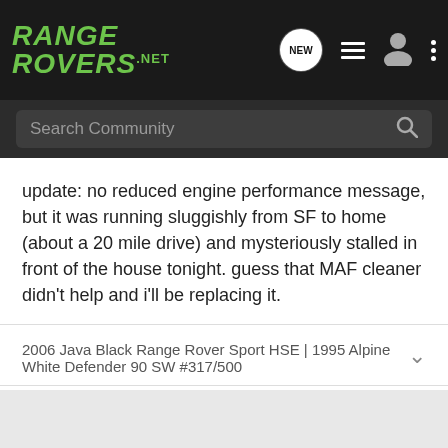[Figure (screenshot): RangeRovers.net website header logo in green italic bold text on dark background]
Search Community
update: no reduced engine performance message, but it was running sluggishly from SF to home (about a 20 mile drive) and mysteriously stalled in front of the house tonight. guess that MAF cleaner didn't help and i'll be replacing it.
2006 Java Black Range Rover Sport HSE | 1995 Alpine White Defender 90 SW #317/500